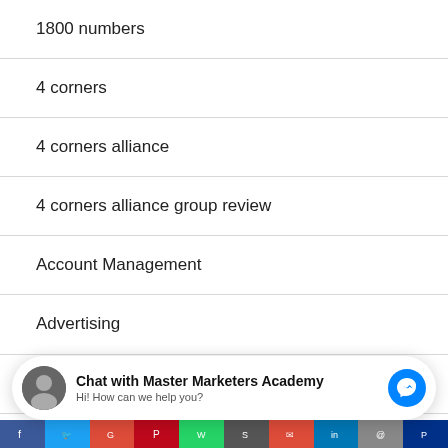1800 numbers
4 corners
4 corners alliance
4 corners alliance group review
Account Management
Advertising
affiliate marketing
Chat with Master Marketers Academy
Hi! How can we help you?